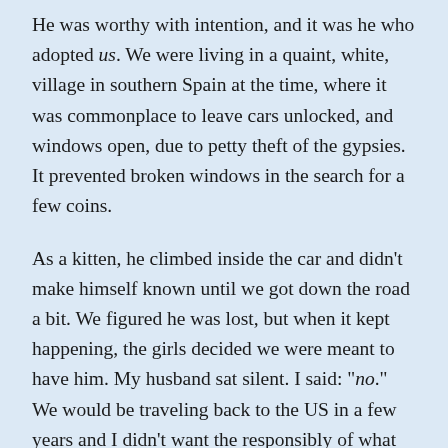He was worthy with intention, and it was he who adopted us. We were living in a quaint, white, village in southern Spain at the time, where it was commonplace to leave cars unlocked, and windows open, due to petty theft of the gypsies. It prevented broken windows in the search for a few coins.
As a kitten, he climbed inside the car and didn't make himself known until we got down the road a bit. We figured he was lost, but when it kept happening, the girls decided we were meant to have him. My husband sat silent. I said: "no." We would be traveling back to the US in a few years and I didn't want the responsibly of what that might mean when we returned stateside. It was for his own good, so I ignored him and pretended not to like him. Two weeks later he found his way into